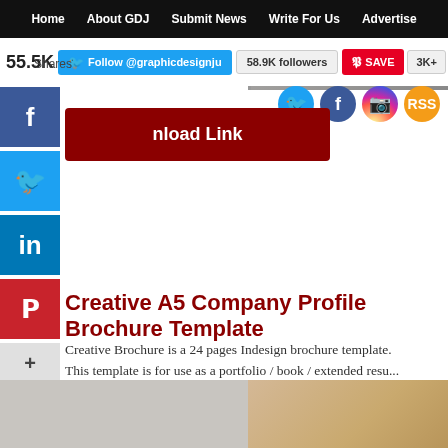Home | About GDJ | Submit News | Write For Us | Advertise
55.5K Shares
Follow @graphicdesignju | 58.9K followers | SAVE | 3K+
[Figure (screenshot): Download Link button (dark red), social share icons (Twitter, Facebook, Instagram, RSS), and side share buttons (Facebook, Twitter, LinkedIn, Pinterest, More+)]
Creative A5 Company Profile Brochure Template
Creative Brochure is a 24 pages Indesign brochure template. This template is for use as a portfolio / book / extended resume.
[Figure (photo): Bottom strip showing a gray and golden/tan brochure preview area]